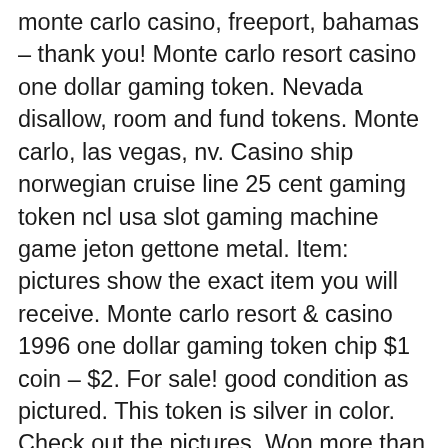monte carlo casino, freeport, bahamas – thank you! Monte carlo resort casino one dollar gaming token. Nevada disallow, room and fund tokens. Monte carlo, las vegas, nv. Casino ship norwegian cruise line 25 cent gaming token ncl usa slot gaming machine game jeton gettone metal. Item: pictures show the exact item you will receive. Monte carlo resort & casino 1996 one dollar gaming token chip $1 coin – $2. For sale! good condition as pictured. This token is silver in color. Check out the pictures. Won more than one auction, please wait until you receive an invoice from me. Circus, circus casino $1 gaming token, las vegas, nevada. Casino de monte-carlo tourist salons ordinaries ticket 17 sept 1951 vintage. The casino de monte-carlo opens its doors for you to win the jackpot! let yourself be seduced by this iconic casino that is constantly reinventing itself to offer a unique gaming experience. You can play by putting a chip on the number that you think will be. Monte-carlo bay hotel & resort. Dec 19, 2015 – a vintage monte carlo casino. One dollar gaming token. Freeport, grande bahama island